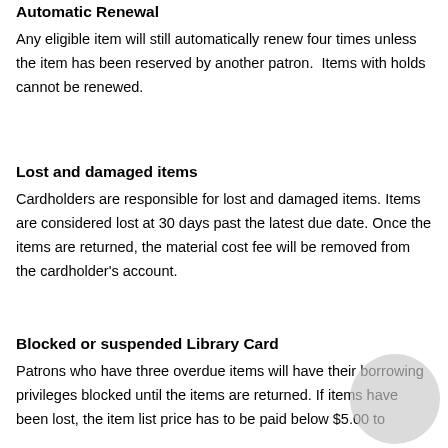Automatic Renewal
Any eligible item will still automatically renew four times unless the item has been reserved by another patron.  Items with holds cannot be renewed.
Lost and damaged items
Cardholders are responsible for lost and damaged items. Items are considered lost at 30 days past the latest due date. Once the items are returned, the material cost fee will be removed from the cardholder's account.
Blocked or suspended Library Card
Patrons who have three overdue items will have their borrowing privileges blocked until the items are returned. If items have been lost, the item list price has to be paid below $5.00 to